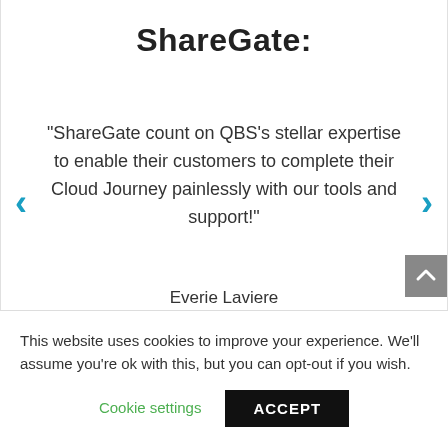ShareGate:
“ShareGate count on QBS’s stellar expertise to enable their customers to complete their Cloud Journey painlessly with our tools and support!”
Everie Laviere
This website uses cookies to improve your experience. We’ll assume you’re ok with this, but you can opt-out if you wish.
Cookie settings
ACCEPT